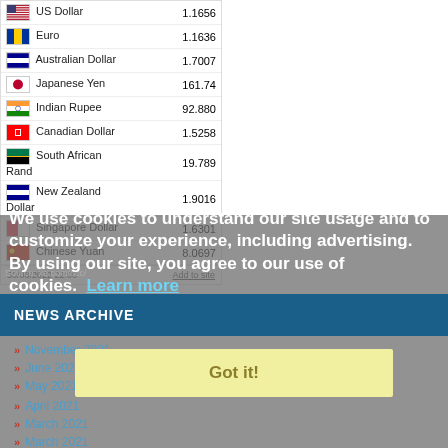| Currency | Rate |
| --- | --- |
| US Dollar | 1.1656 |
| Euro | 1.1636 |
| Australian Dollar | 1.7007 |
| Japanese Yen | 161.74 |
| Indian Rupee | 92.880 |
| Canadian Dollar | 1.5258 |
| South African Rand | 19.789 |
| New Zealand Dollar | 1.9016 |
| Singapore Dollar | 1.6301 |
| Chinese Yuan | 8.0697 |
30/08/2022 22:00   Add to site
Source: xe.com/ucc/
We use cookies to understand our site usage and to customize your experience, including advertising. By using our site, you agree to our use of cookies.  Learn more
NEWS ARCHIVE
November 2021
June 2021
May 2021
April 2021
March 2021
March 2021